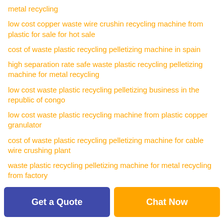metal recycling
low cost copper waste wire crushin recycling machine from plastic for sale for hot sale
cost of waste plastic recycling pelletizing machine in spain
high separation rate safe waste plastic recycling pelletizing machine for metal recycling
low cost waste plastic recycling pelletizing business in the republic of congo
low cost waste plastic recycling machine from plastic copper granulator
cost of waste plastic recycling pelletizing machine for cable wire crushing plant
waste plastic recycling pelletizing machine for metal recycling from factory
Get a Quote
Chat Now